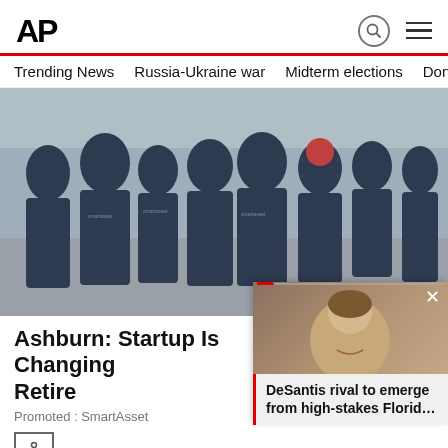AP
Trending News
Russia-Ukraine war
Midterm elections
Dona
[Figure (photo): Group of people wearing SmartAsset branded t-shirts standing outdoors on a cobblestone street]
Ashburn: Startup Is Changing How People Retire
Promoted : SmartAsset
[Figure (photo): Video thumbnail showing a smiling woman, with headline: DeSantis rival to emerge from high-stakes Florid...]